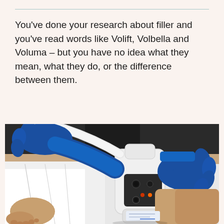You've done your research about filler and you've read words like Volift, Volbella and Voluma – but you have no idea what they mean, what they do, or the difference between them.
[Figure (photo): A medical professional wearing blue gloves holds a white handheld laser or light-based treatment device against the leg/skin of a patient lying on a treatment table covered with white draping. The device has a black panel with buttons and indicator lights.]